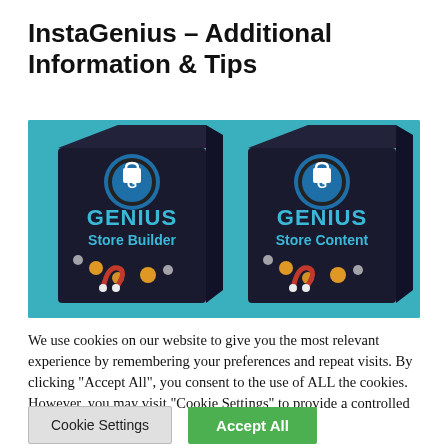InstaGenius – Additional Information & Tips
[Figure (photo): Two dark product boxes labeled GENIUS Store Builder and GENIUS Store Content, displayed against a teal/blue background with decorative elements like coins and magnets.]
We use cookies on our website to give you the most relevant experience by remembering your preferences and repeat visits. By clicking "Accept All", you consent to the use of ALL the cookies. However, you may visit "Cookie Settings" to provide a controlled consent.
Cookie Settings | Accept All